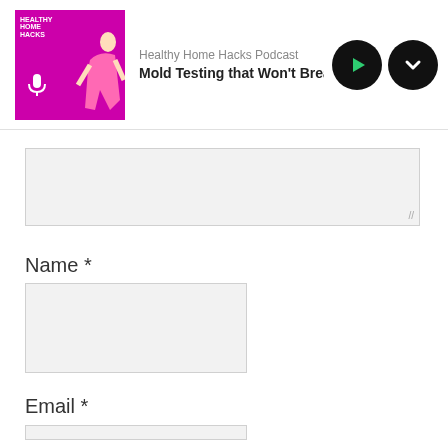[Figure (screenshot): Podcast player banner showing 'Healthy Home Hacks Podcast' with episode title 'Mold Testing that Won't Break the B' (truncated), play button and download button]
Name *
Email *